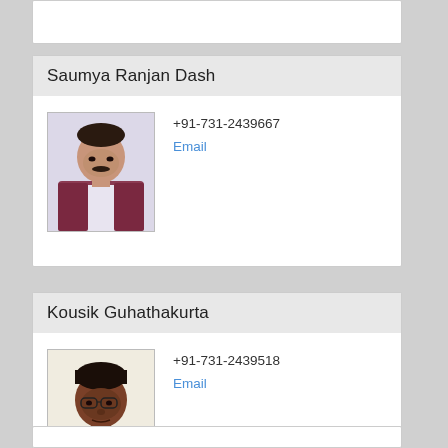Saumya Ranjan Dash
[Figure (photo): Portrait photo of Saumya Ranjan Dash, a man wearing a maroon vest]
+91-731-2439667
Email
Kousik Guhathakurta
[Figure (photo): Portrait photo of Kousik Guhathakurta, a man wearing glasses and a yellow shirt]
+91-731-2439518
Email